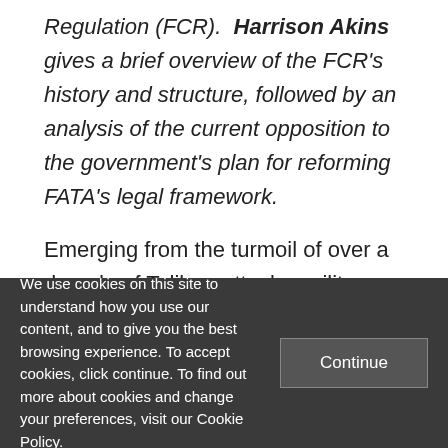Regulation (FCR). Harrison Akins gives a brief overview of the FCR's history and structure, followed by an analysis of the current opposition to the government's plan for reforming FATA's legal framework.
Emerging from the turmoil of over a decade of Taliban attacks, military operations, and U.S. drone strikes, tribesmen from Pakistan's Federally Administered Tribal Areas (FATA)
We use cookies on this site to understand how you use our content, and to give you the best browsing experience. To accept cookies, click continue. To find out more about cookies and change your preferences, visit our Cookie Policy.